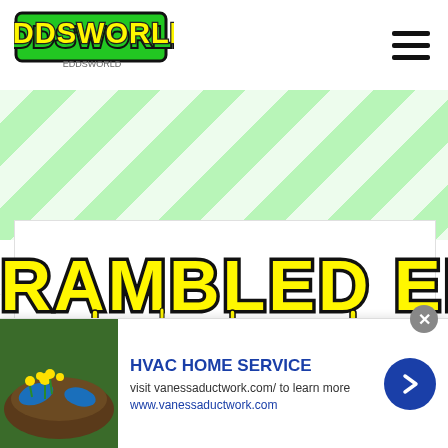[Figure (logo): Eddsworld logo in green graffiti-style font with 'EDDSWORLD' text and small subtitle]
[Figure (illustration): Hamburger menu icon (three horizontal bars) in top right corner]
[Figure (illustration): Diagonal green and white stripe banner background]
SCRAMBLED EDD
(THE NEWS FEED)
[Figure (photo): Photo of Eddsworld merchandise/enamel pin on teal background]
[Figure (photo): Ad image: garden/lawn photo with yellow flowers]
HVAC HOME SERVICE
visit vanessaductwork.com/ to learn more
www.vanessaductwork.com